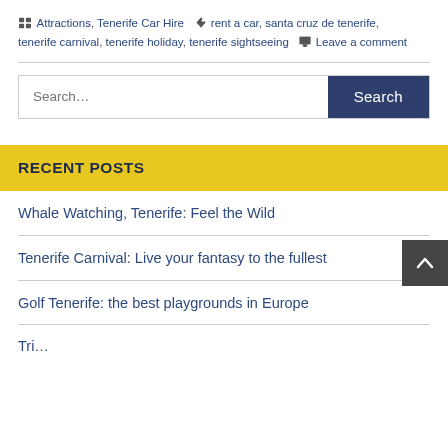Attractions, Tenerife Car Hire   rent a car, santa cruz de tenerife, tenerife carnival, tenerife holiday, tenerife sightseeing   Leave a comment
[Figure (screenshot): Search bar with text input field labeled 'Search...' and a dark blue 'Search' button]
RECENT POSTS
Whale Watching, Tenerife: Feel the Wild
Tenerife Carnival: Live your fantasy to the fullest
Golf Tenerife: the best playgrounds in Europe
Tri…